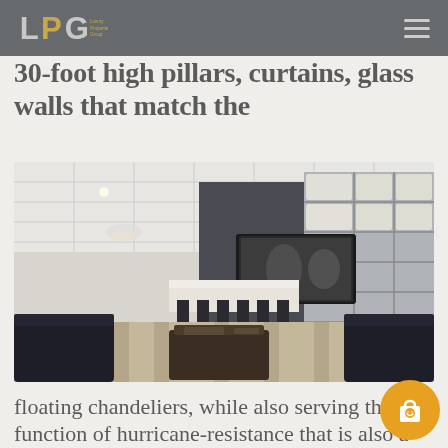LPG — Luxury Properties Group
30-foot high pillars, curtains, glass walls that match the
[Figure (photo): Luxurious open-plan living room and kitchen with dark leather sofas, a large flat-screen TV built into a white shelving unit, pendant chandeliers, and a kitchen island with bar stools]
floating chandeliers, while also serving the function of hurricane-resistance that is also a feature throughout the entire home in all